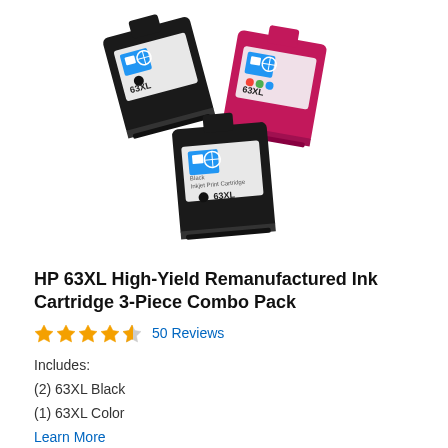[Figure (photo): Three HP 63XL ink cartridges arranged in a cluster: two black cartridges and one tri-color (magenta/pink) cartridge, all showing the HP label with blue square icon and 63XL marking.]
HP 63XL High-Yield Remanufactured Ink Cartridge 3-Piece Combo Pack
★★★★½ 50 Reviews
Includes:
(2) 63XL Black
(1) 63XL Color
Learn More